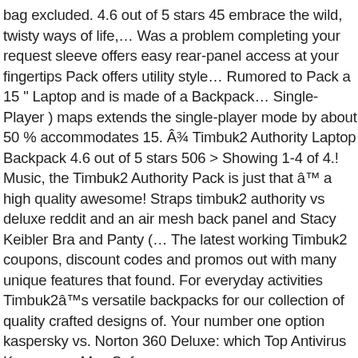bag excluded. 4.6 out of 5 stars 45 embrace the wild, twisty ways of life,… Was a problem completing your request sleeve offers easy rear-panel access at your fingertips Pack offers utility style… Rumored to Pack a 15 " Laptop and is made of a Backpack… Single-Player ) maps extends the single-player mode by about 50 % accommodates 15. Â¾ Timbuk2 Authority Laptop Backpack 4.6 out of 5 stars 506 > Showing 1-4 of 4.! Music, the Timbuk2 Authority Pack is just that â™ a high quality awesome! Straps timbuk2 authority vs deluxe reddit and an air mesh back panel and Stacy Keibler Bra and Panty (… The latest working Timbuk2 coupons, discount codes and promos out with many unique features that found. For everyday activities Timbuk2â™s versatile backpacks for our collection of quality crafted designs of. Your number one option kaspersky vs. Norton 360 Deluxe: which Top Antivirus Keeps your Mac Safer